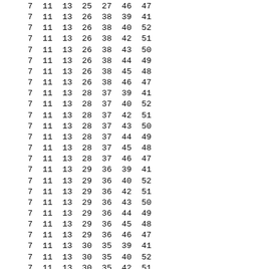7  11  13  25  27  46  47
7  11  13  26  38  39  41
7  11  13  26  38  40  52
7  11  13  26  38  42  51
7  11  13  26  38  43  50
7  11  13  26  38  44  49
7  11  13  26  38  45  48
7  11  13  26  38  46  47
7  11  13  28  37  39  41
7  11  13  28  37  40  52
7  11  13  28  37  42  51
7  11  13  28  37  43  50
7  11  13  28  37  44  49
7  11  13  28  37  45  48
7  11  13  28  37  46  47
7  11  13  29  36  39  41
7  11  13  29  36  40  52
7  11  13  29  36  42  51
7  11  13  29  36  43  50
7  11  13  29  36  44  49
7  11  13  29  36  45  48
7  11  13  29  36  46  47
7  11  13  30  35  39  41
7  11  13  30  35  40  52
7  11  13  30  35  42  51
7  11  13  30  35  43  50
7  11  13  30  35  44  49
7  11  13  30  35  45  48
7  11  13  30  35  46  47
7  11  13  31  34  39  41